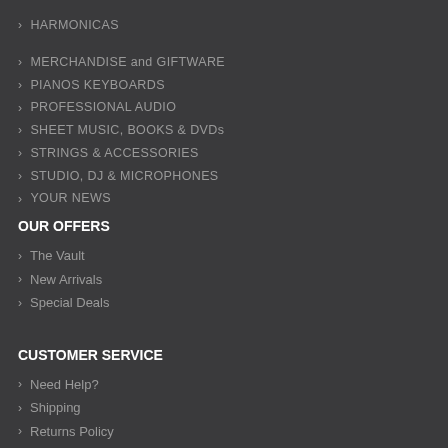> HARMONICAS
> MERCHANDISE and GIFTWARE
> PIANOS KEYBOARDS
> PROFESSIONAL AUDIO
> SHEET MUSIC, BOOKS & DVDs
> STRINGS & ACCESSORIES
> STUDIO, DJ & MICROPHONES
> YOUR NEWS
OUR OFFERS
> The Vault
> New Arrivals
> Special Deals
CUSTOMER SERVICE
> Need Help?
> Shipping
> Returns Policy
> FAQ's
CONTACT US